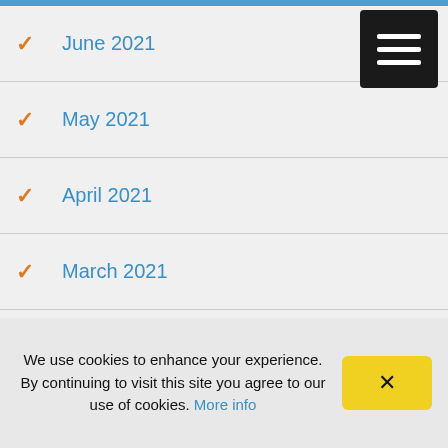✓ June 2021
✓ May 2021
✓ April 2021
✓ March 2021
✓ February 2021
✓ January 2021
✓ December 2020
✓ November 2020
✓ October 2020
We use cookies to enhance your experience. By continuing to visit this site you agree to our use of cookies. More info